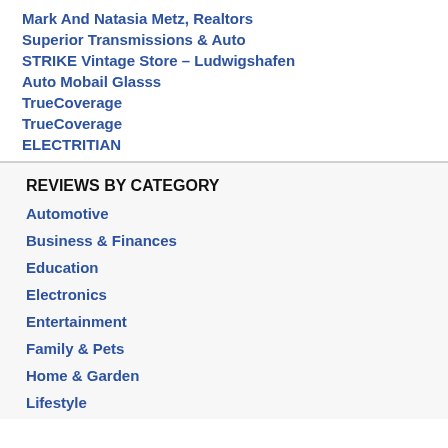Mark And Natasia Metz, Realtors
Superior Transmissions & Auto
STRIKE Vintage Store – Ludwigshafen
Auto Mobail Glasss
TrueCoverage
TrueCoverage
ELECTRITIAN
REVIEWS BY CATEGORY
Automotive
Business & Finances
Education
Electronics
Entertainment
Family & Pets
Home & Garden
Lifestyle